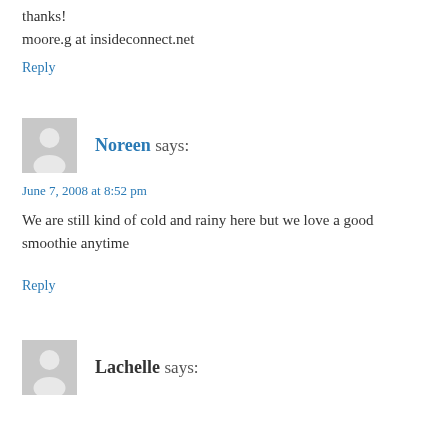thanks!
moore.g at insideconnect.net
Reply
Noreen says:
June 7, 2008 at 8:52 pm
We are still kind of cold and rainy here but we love a good smoothie anytime
Reply
Lachelle says: